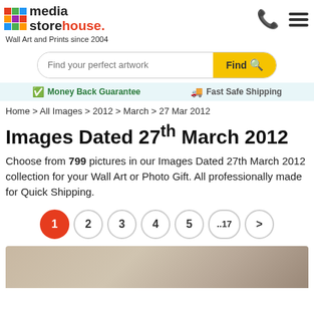[Figure (logo): Media Storehouse logo with colorful grid squares and text]
Wall Art and Prints since 2004
[Figure (other): Search bar with 'Find your perfect artwork' placeholder and yellow Find button]
Money Back Guarantee   Fast Safe Shipping
Home > All Images > 2012 > March > 27 Mar 2012
Images Dated 27th March 2012
Choose from 799 pictures in our Images Dated 27th March 2012 collection for your Wall Art or Photo Gift. All professionally made for Quick Shipping.
[Figure (other): Pagination: page 1 (active/red), 2, 3, 4, 5, ..17, >]
[Figure (photo): Partial image preview showing a brown/beige gradient background]